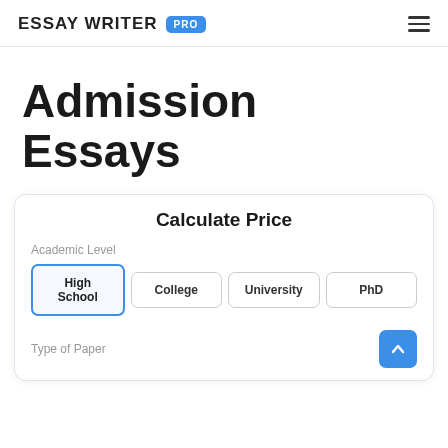ESSAY WRITER PRO
Admission Essays
Calculate Price
Academic Level
High School
College
University
PhD
Type of Paper